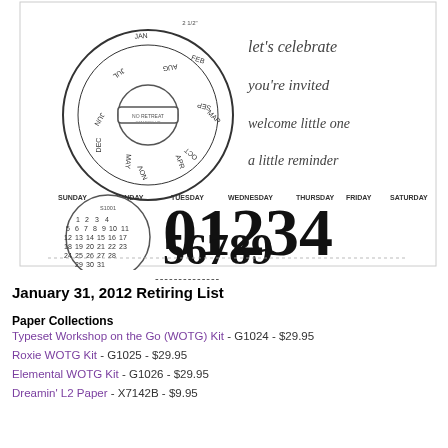[Figure (illustration): Stampin' Up product image showing stamp sets: a circular date wheel/perpetual calendar stamp, text stamps reading 'let's celebrate', 'you're invited', 'welcome little one', 'a little reminder', days of the week stamps (SUNDAY through SATURDAY), a small monthly calendar grid, and large bold number stamps 0-9 (56789).]
--------------
January 31, 2012 Retiring List
Paper Collections
Typeset Workshop on the Go (WOTG) Kit - G1024 - $29.95
Roxie WOTG Kit - G1025 - $29.95
Elemental WOTG Kit - G1026 - $29.95
Dreamin' L2 Paper - X7142B - $9.95